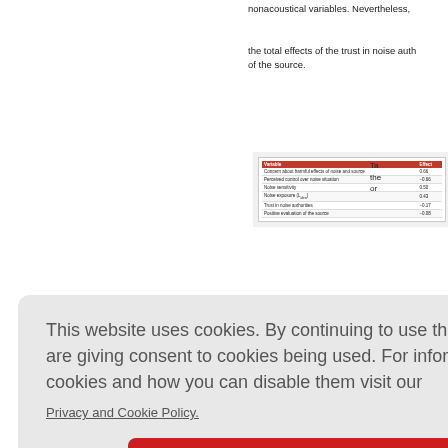nonacoustical variables. Nevertheless,
the total effects of the trust in noise authorities and of the source.
[Figure (table-as-image): Thumbnail of a table showing variables and their effects, with red header row. Variables include: Concern about harmful effects of noise and source, Perceived control over noise situation, Noise sensitivity, Noise exposure, Trust in noise authorities, Positive evaluation of the source. Effects range from -0.17 to 0.98.]
Ta the or
Cli
nships
s living in a mpleted a s nce. The s y local an traffic, and
influencing noise immission. To determi
This website uses cookies. By continuing to use this website you are giving consent to cookies being used. For information on cookies and how you can disable them visit our
Privacy and Cookie Policy.
AGREE & PROCEED